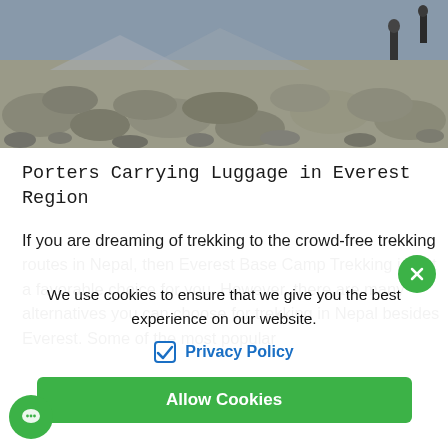[Figure (photo): Hikers/porters walking on a rocky trail in the Everest region, with large boulders and grey rocky terrain visible]
Porters Carrying Luggage in Everest Region
If you are dreaming of trekking to the crowd-free trekking routes in Nepal, then Everest Base Camp Trekking is not a favorable choice for you. However, there are many alternatives you can choose for trekking in Nepal besides Everest. Some of the most popular
We use cookies to ensure that we give you the best experience on our website.
Privacy Policy
Allow Cookies